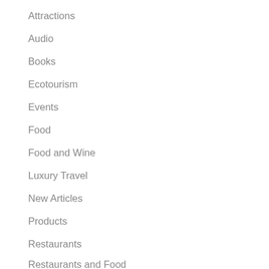Attractions
Audio
Books
Ecotourism
Events
Food
Food and Wine
Luxury Travel
New Articles
Products
Restaurants
Restaurants and Food